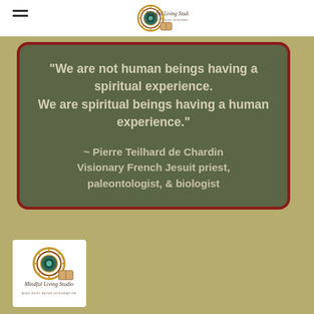Mindful Living Studio — Mind Body Being Integration
[Figure (logo): Mindful Living Studio logo with mandala graphic in header]
"We are not human beings having a spiritual experience. We are spiritual beings having a human experience."
~ Pierre Teilhard de Chardin Visionary French Jesuit priest, paleontologist, & biologist
[Figure (logo): Mindful Living Studio logo with mandala and text at bottom left]